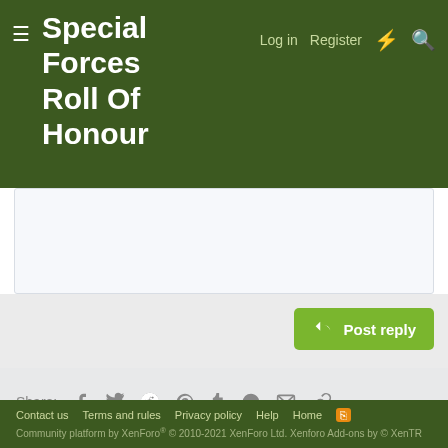Special Forces Roll Of Honour
Log in   Register
[Figure (screenshot): White/light grey text input area for composing a reply]
[Figure (screenshot): Green Post reply button with reply arrow icon]
Share: [Facebook] [Twitter] [Reddit] [Pinterest] [Tumblr] [WhatsApp] [Email] [Link]
< Awards
Contact us   Terms and rules   Privacy policy   Help   Home   [RSS icon]   Community platform by XenForo® © 2010-2021 XenForo Ltd. Xenforo Add-ons by © XenTR